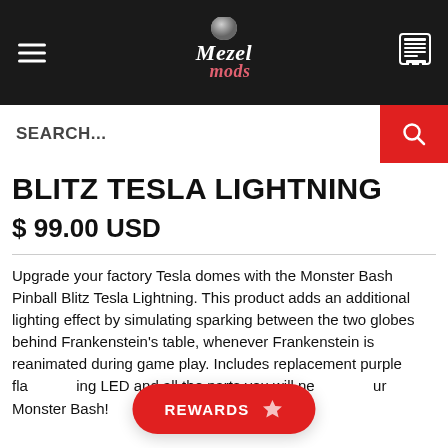[Figure (logo): Mezel Mods logo with hamburger menu on left and cart icon on right, on black background]
SEARCH...
BLITZ TESLA LIGHTNING
$ 99.00 USD
Upgrade your factory Tesla domes with the Monster Bash Pinball Blitz Tesla Lightning. This product adds an additional lighting effect by simulating sparking between the two globes behind Frankenstein's table, whenever Frankenstein is reanimated during game play. Includes replacement purple fla[…]ing LED and all the parts you will ne[…]ur Monster Bash!